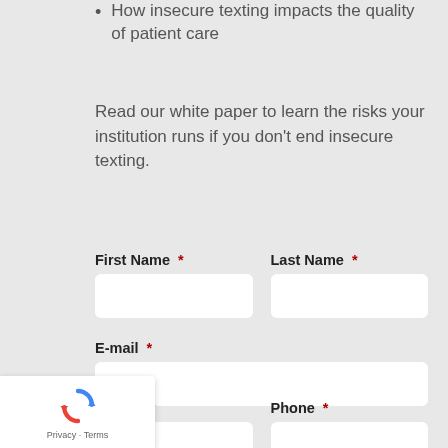How insecure texting impacts the quality of patient care
Read our white paper to learn the risks your institution runs if you don't end insecure texting.
First Name * [input field]  Last Name * [input field]
E-mail * [input field]
Company * [input field]  Phone * [input field]